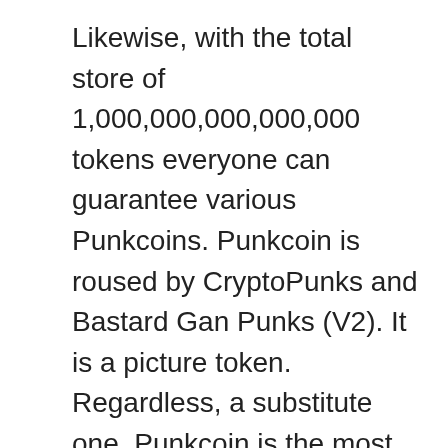Likewise, with the total store of 1,000,000,000,000,000 tokens everyone can guarantee various Punkcoins. Punkcoin is roused by CryptoPunks and Bastard Gan Punks (V2). It is a picture token. Regardless, a substitute one. Punkcoin is the most resistant token. This property offers the probability to beat and contraperform other cryptographic types of cash. Its arrangement shows unequivocally what we referred to already. There are clear comparable qualities to Bitcoin, Litecoin, Bitcoin Cash and Dogecoin, yet the pink tone and the